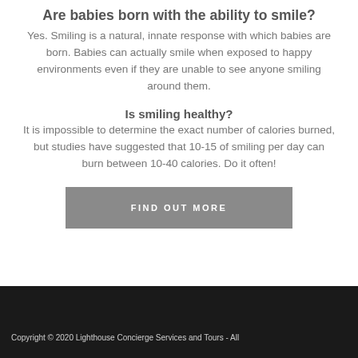Are babies born with the ability to smile?
Yes. Smiling is a natural, innate response with which babies are born. Babies can actually smile when exposed to happy environments even if they are unable to see anyone smiling around them.
Is smiling healthy?
It is impossible to determine the exact number of calories burned, but studies have suggested that 10-15 of smiling per day can burn between 10-40 calories. Do it often!
FIND OUT MORE
Copyright © 2020 Lighthouse Concierge Services and Tours - All